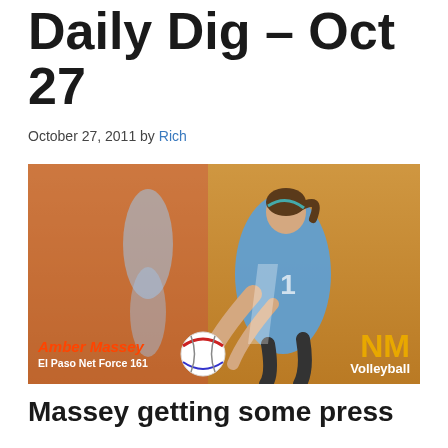Daily Dig – Oct 27
October 27, 2011 by Rich
[Figure (photo): Volleyball player Amber Massey in blue uniform digging a volleyball, with NM Volleyball watermark. Caption reads: Amber Massey / El Paso Net Force 161]
Massey getting some press